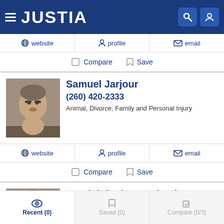JUSTIA
website  profile  email
Compare  Save
Samuel Jarjour
(260) 420-2333
Animal, Divorce, Family and Personal Injury
website  profile  email
Compare  Save
Randolph Lise Roebuck
(260) 426-4444 Free Consultation
Recent (0)  Saved (0)  Compare (0/3)